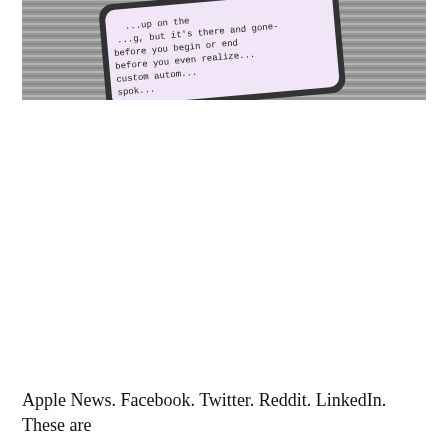[Figure (photo): A photo of a smartphone with a pink/lavender screen displaying text about automation, placed on a metallic ridged surface. The visible text fragment reads: '...up on the ...g, but it's there and gone- before you begin or end before you even realize... custom autom... spok...']
Apple News. Facebook. Twitter. Reddit. LinkedIn. These are